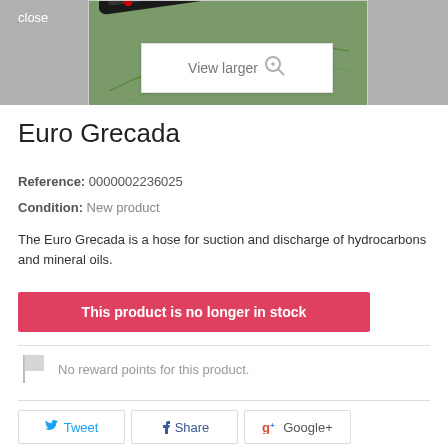[Figure (photo): Product image area showing a hose against green background with 'View larger' popup overlay, and a 'close' button top left]
Euro Grecada
Reference: 0000002236025
Condition: New product
The Euro Grecada is a hose for suction and discharge of hydrocarbons and mineral oils.
This product is no longer in stock
No reward points for this product.
Tweet  Share  Google+